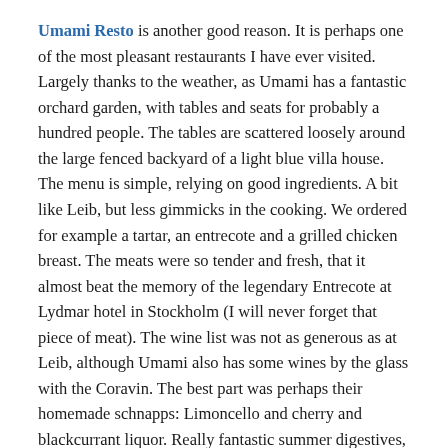Umami Resto is another good reason. It is perhaps one of the most pleasant restaurants I have ever visited. Largely thanks to the weather, as Umami has a fantastic orchard garden, with tables and seats for probably a hundred people. The tables are scattered loosely around the large fenced backyard of a light blue villa house. The menu is simple, relying on good ingredients. A bit like Leib, but less gimmicks in the cooking. We ordered for example a tartar, an entrecote and a grilled chicken breast. The meats were so tender and fresh, that it almost beat the memory of the legendary Entrecote at Lydmar hotel in Stockholm (I will never forget that piece of meat). The wine list was not as generous as at Leib, although Umami also has some wines by the glass with the Coravin. The best part was perhaps their homemade schnapps: Limoncello and cherry and blackcurrant liquor. Really fantastic summer digestives, that work well instead of dessert.
In addition to the fantastic restaurants, we walked around the